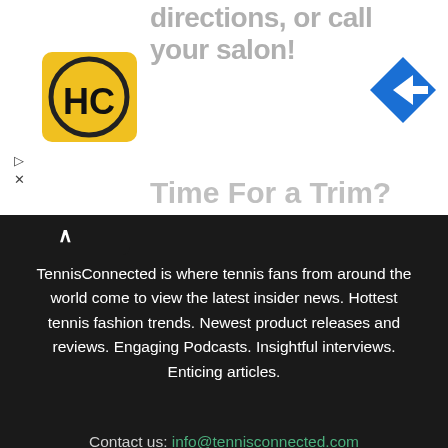[Figure (screenshot): Advertisement banner at top of page with HC logo (yellow circle with black HC letters), navigation arrow icon on the right, partial text reading 'directions, or call your salon!' and 'Time For a Trim?' in gray, with play and close icons on left.]
TennisConnected is where tennis fans from around the world come to view the latest insider news. Hottest tennis fashion trends. Newest product releases and reviews. Engaging Podcasts. Insightful interviews. Enticing articles.
Contact us: info@tennisconnected.com
[Figure (infographic): Three social media icon boxes in a row: Facebook (f), Instagram (circle with square inside), and Twitter (bird icon), each in a square bordered box on dark background.]
PARTNERS
Tennis Warehouse